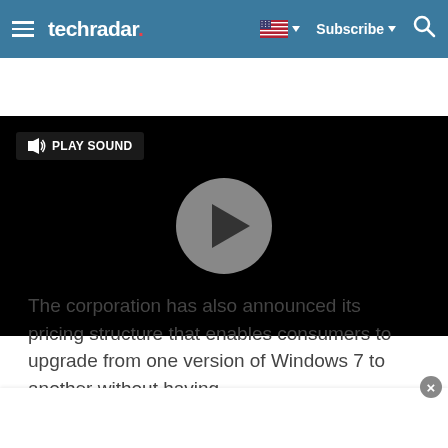techradar. | Subscribe | Search
[Figure (screenshot): Video player with black background, gray circular play button in center, and a PLAY SOUND button with speaker icon in the top-left.]
The corporation has also announced its pricing structure that enables consumers to upgrade from one version of Windows 7 to another without having